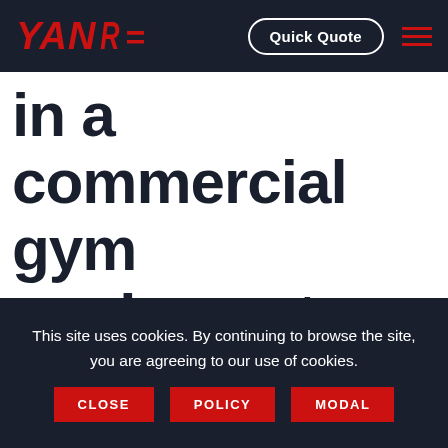YANRE | Quick Quote
in a commercial gym equipment manufacturer? .
This site uses cookies. By continuing to browse the site, you are agreeing to our use of cookies.
CLOSE
POLICY
MODAL